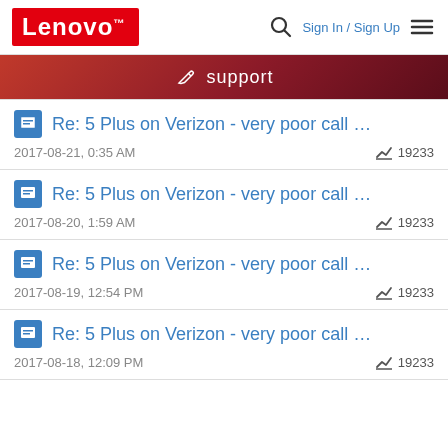Lenovo — Sign In / Sign Up
[Figure (screenshot): Lenovo support page header with logo, search icon, sign in/sign up links, and hamburger menu]
support
Re: 5 Plus on Verizon - very poor call … 2017-08-21, 0:35 AM  19233
Re: 5 Plus on Verizon - very poor call … 2017-08-20, 1:59 AM  19233
Re: 5 Plus on Verizon - very poor call … 2017-08-19, 12:54 PM  19233
Re: 5 Plus on Verizon - very poor call … 2017-08-18, 12:09 PM  19233